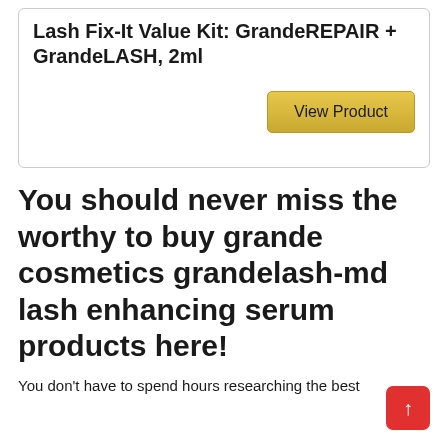Lash Fix-It Value Kit: GrandeREPAIR + GrandeLASH, 2ml
View Product
You should never miss the worthy to buy grande cosmetics grandelash-md lash enhancing serum products here!
You don't have to spend hours researching the best